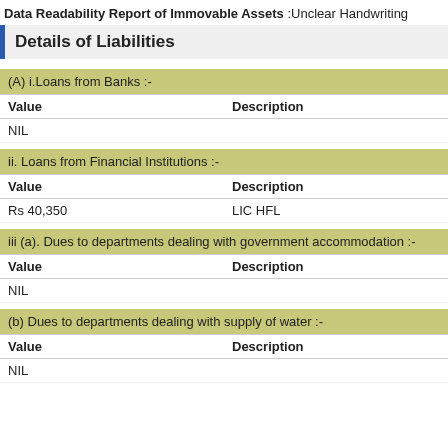Data Readability Report of Immovable Assets :Unclear Handwriting
Details of Liabilities
(A) i.Loans from Banks :-
| Value | Description |
| --- | --- |
| NIL |  |
ii. Loans from Financial Institutions :-
| Value | Description |
| --- | --- |
| Rs 40,350 | LIC HFL |
iii (a). Dues to departments dealing with government accommodation :-
| Value | Description |
| --- | --- |
| NIL |  |
(b) Dues to departments dealing with supply of water :-
| Value | Description |
| --- | --- |
| NIL |  |